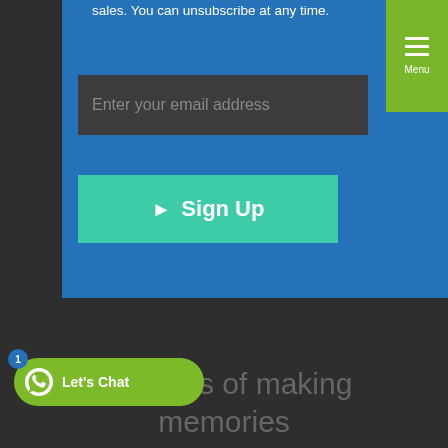sales. You can unsubscribe at any time.
Enter your email address
Sign Up
Menu
business of making memories
Let's Chat